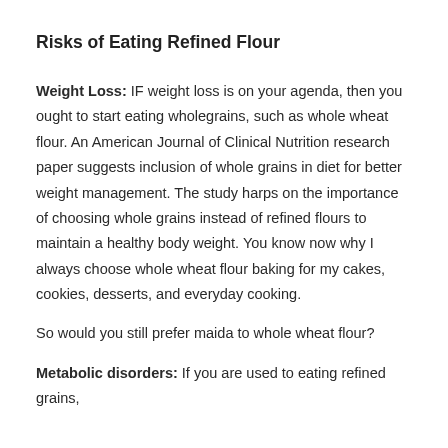Risks of Eating Refined Flour
Weight Loss: IF weight loss is on your agenda, then you ought to start eating wholegrains, such as whole wheat flour. An American Journal of Clinical Nutrition research paper suggests inclusion of whole grains in diet for better weight management. The study harps on the importance of choosing whole grains instead of refined flours to maintain a healthy body weight. You know now why I always choose whole wheat flour baking for my cakes, cookies, desserts, and everyday cooking.
So would you still prefer maida to whole wheat flour?
Metabolic disorders: If you are used to eating refined grains,